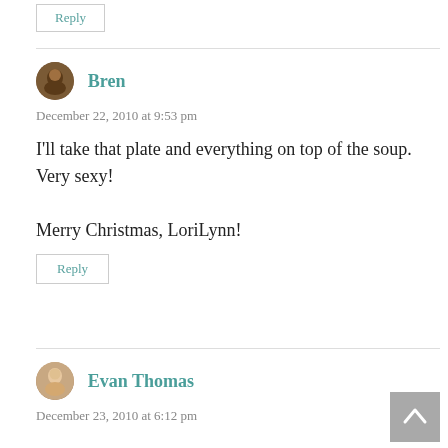Reply
Bren
December 22, 2010 at 9:53 pm
I'll take that plate and everything on top of the soup. Very sexy!

Merry Christmas, LoriLynn!
Reply
Evan Thomas
December 23, 2010 at 6:12 pm